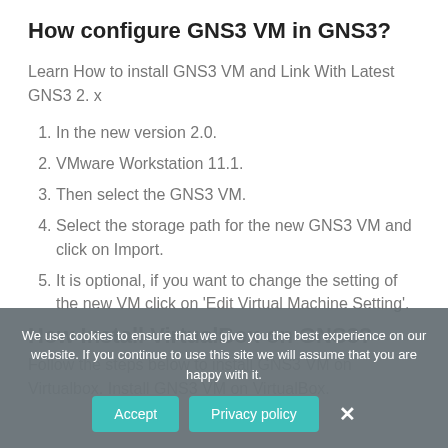How configure GNS3 VM in GNS3?
Learn How to install GNS3 VM and Link With Latest GNS3 2. x
In the new version 2.0.
VMware Workstation 11.1.
Then select the GNS3 VM.
Select the storage path for the new GNS3 VM and click on Import.
It is optional, if you want to change the setting of the new VM click on ‘Edit Virtual Machine Setting’.
How Install VirtualBox on GNS3?
Follow the steps below to install GNS3 VM on Virtualbox. Install GNS3 VM on VirtualBox.
We use cookies to ensure that we give you the best experience on our website. If you continue to use this site we will assume that you are happy with it.